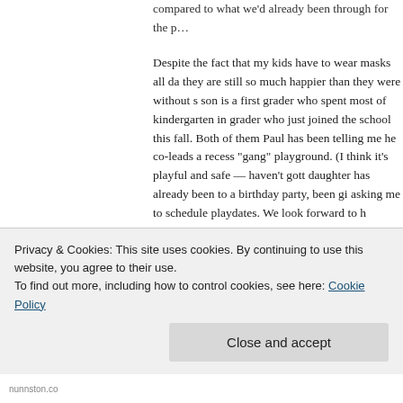compared to what we'd already been through for the p...
Despite the fact that my kids have to wear masks all da they are still so much happier than they were without s son is a first grader who spent most of kindergarten in grader who just joined the school this fall. Both of them Paul has been telling me he co-leads a recess “gang” playground. (I think it’s playful and safe — haven’t gott daughter has already been to a birthday party, been gi asking me to schedule playdates. We look forward to h comfortable with indoor playdates and hopefully some
Even with the return to school, my kids seem a bit stir and it was perhaps the first time the extra hour in the d consist of time spent at home with the four of us. This l like before the pandemic? At this point, it’s honestly a b pretty busy — keeping my kids entertained seemed to weekends used to be something like: kids’ soccer/bask something extra special like going to the ballet, dinner
Privacy & Cookies: This site uses cookies. By continuing to use this website, you agree to their use.
To find out more, including how to control cookies, see here: Cookie Policy
Close and accept
nunnston.co